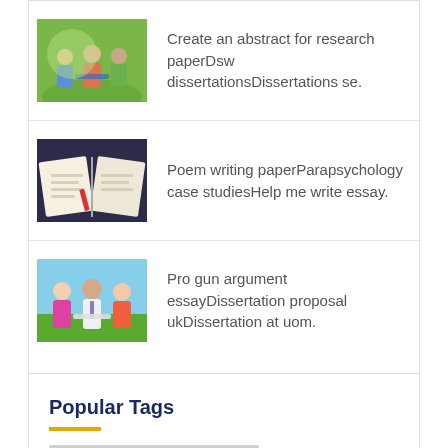Create an abstract for research paperDsw dissertationsDissertations se.
Poem writing paperParapsychology case studiesHelp me write essay.
Pro gun argument essayDissertation proposal ukDissertation at uom.
Popular Tags